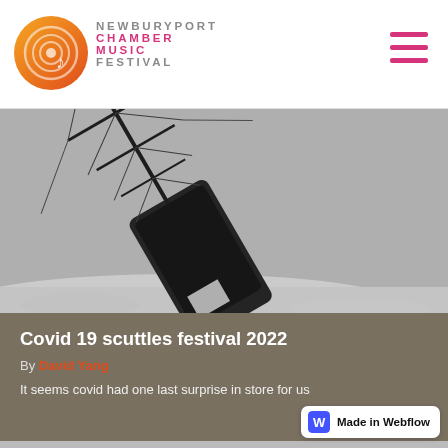NEWBURYPORT CHAMBER MUSIC FESTIVAL
[Figure (photo): Black and white historical photograph of a large sailing ship tilted dramatically to one side, partially sunk or listing in icy/snowy conditions, with masts and rigging visible against a light sky.]
Covid 19 scuttles festival 2022
By David Yang
It seems covid had one last surprise in store for us